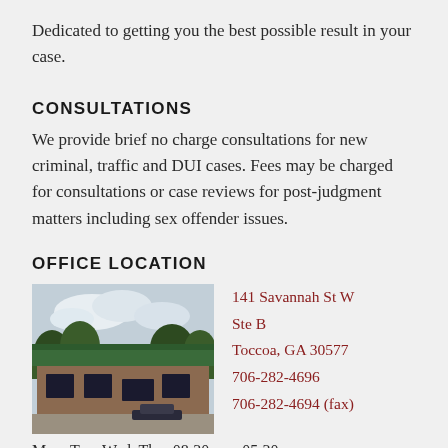Dedicated to getting you the best possible result in your case.
CONSULTATIONS
We provide brief no charge consultations for new criminal, traffic and DUI cases. Fees may be charged for consultations or case reviews for post-judgment matters including sex offender issues.
OFFICE LOCATION
[Figure (photo): Exterior photo of a commercial office building with green roof, brick facade, surrounded by trees, overcast sky]
141 Savannah St W
Ste B
Toccoa, GA 30577
706-282-4696
706-282-4694 (fax)
Mon, Tue, Wed, Thu: 08:30am - 05:30pm